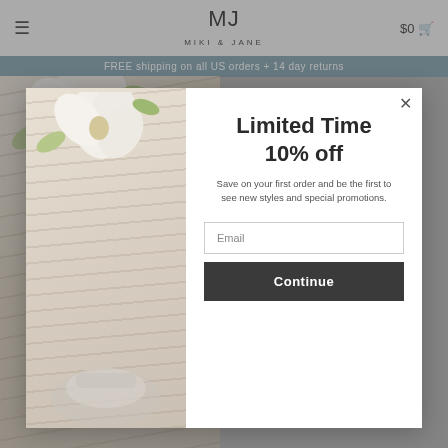MIKI & JANE  $0
FREE shipping on all US orders + 14 day returns
[Figure (photo): Jewelry pieces and accessories laid on a striped background with white flowers]
Limited Time
10% off
Save on your first order and be the first to see new styles and special promotions.
Email
Continue